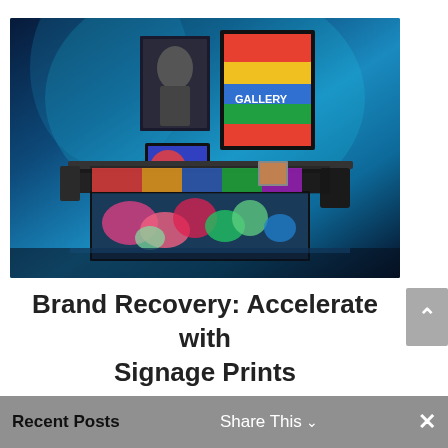[Figure (photo): A wide-format Epson flatbed printer in a dark blue studio setting, surrounded by printed artworks including portraits, colorful abstract prints, and gallery signage mounted on the wall behind.]
Brand Recovery: Accelerate with Signage Prints
Recent Posts   Share This ∨   ✕